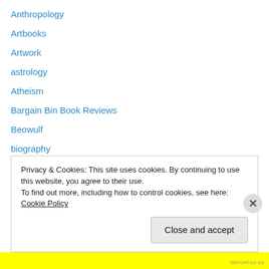Anthropology
Artbooks
Artwork
astrology
Atheism
Bargain Bin Book Reviews
Beowulf
biography
Biology
Body Modification
Books about Writing and Books
Books I Didn't Care Much For
Buddhism
Privacy & Cookies: This site uses cookies. By continuing to use this website, you agree to their use.
To find out more, including how to control cookies, see here: Cookie Policy
Close and accept